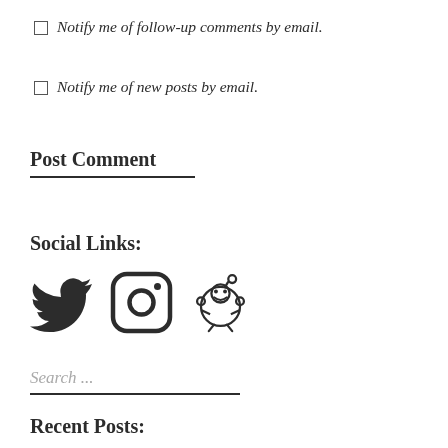Notify me of follow-up comments by email.
Notify me of new posts by email.
Post Comment
Social Links:
[Figure (illustration): Three social media icons: Twitter bird, Instagram camera, Reddit alien]
Search ...
Recent Posts: